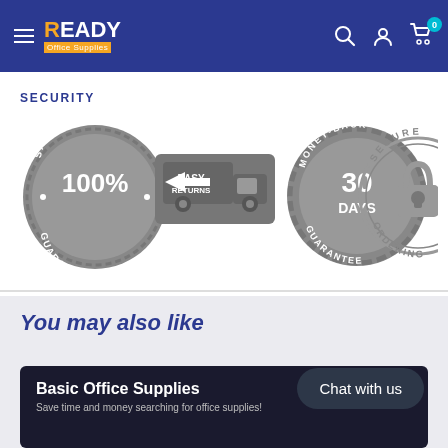[Figure (logo): Ready Office Supplies navigation bar with logo, hamburger menu, search, user, and cart icons]
SECURITY
[Figure (infographic): Four security badges: 100% Satisfaction Guaranteed, Easy Returns truck, 30 Days Money-Back Guarantee, Secure Ordering padlock]
You may also like
[Figure (screenshot): Product card with dark background showing Basic Office Supplies]
Basic Office Supplies
Chat with us